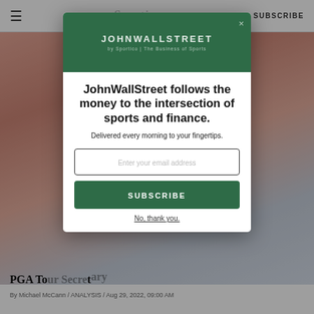≡  Sportico  SUBSCRIBE
[Figure (photo): Blurred background photo of person in white shirt with warm reddish and blue tones, behind a newsletter subscription modal overlay]
[Figure (infographic): JohnWallStreet by Sportico newsletter subscription modal with green header, bold tagline, email input, and subscribe button]
JohnWallStreet follows the money to the intersection of sports and finance.
Delivered every morning to your fingertips.
No, thank you.
PGA To... Secret...
By Michael McCann / ANALYSIS / Aug 29, 2022, 09:00 AM